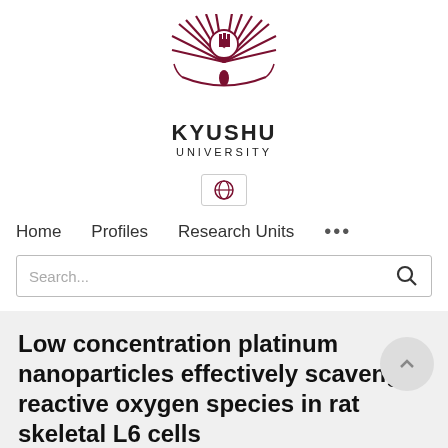[Figure (logo): Kyushu University logo — a stylized bird/sunrise emblem in dark red/maroon with radiating feather-like lines, above the text KYUSHU UNIVERSITY]
KYUSHU UNIVERSITY
[Figure (other): Globe/language selector icon inside a bordered rectangle button]
Home   Profiles   Research Units   ...
Search...
Low concentration platinum nanoparticles effectively scavenge reactive oxygen species in rat skeletal L6 cells